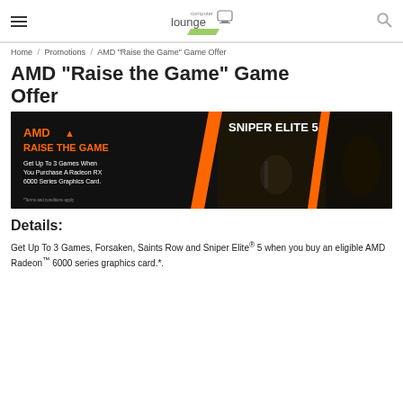Computer Lounge
Home / Promotions / AMD "Raise the Game" Game Offer
AMD "Raise the Game" Game Offer
[Figure (photo): AMD Raise the Game promotional banner showing AMD logo and text 'Get Up To 3 Games When You Purchase A Radeon RX 6000 Series Graphics Card.' alongside Sniper Elite 5 game imagery]
Details:
Get Up To 3 Games, Forsaken, Saints Row and Sniper Elite® 5 when you buy an eligible AMD Radeon™ 6000 series graphics card.*.